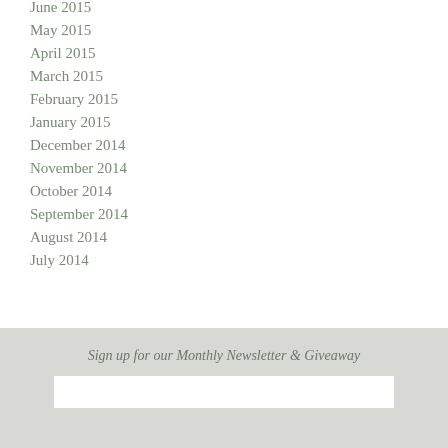June 2015
May 2015
April 2015
March 2015
February 2015
January 2015
December 2014
November 2014
October 2014
September 2014
August 2014
July 2014
Sign up for our Monthly Newsletter & Giveaway